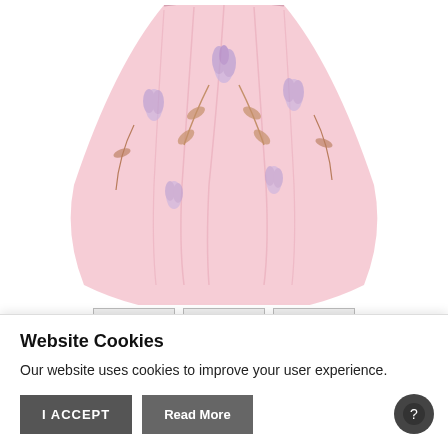[Figure (photo): Tiered bodice dress with pink and lavender floral print on white background, skirt portion shown]
8 Yrs
10 Yrs
12 Yrs
TIERED BODICE DRESS
£193.00  £125.45
[Figure (photo): Partially visible second product image at bottom]
Website Cookies
Our website uses cookies to improve your user experience.
I ACCEPT  Read More